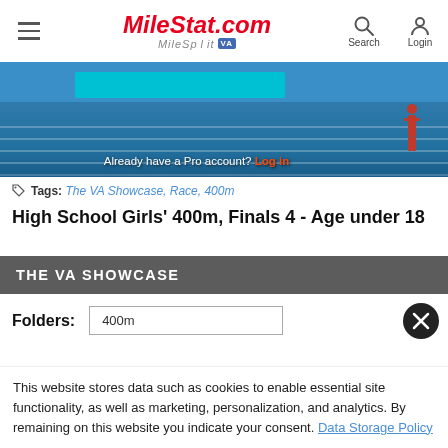MileStat.com MileSplit VA — Search Login
[Figure (photo): Indoor track photo with cyan bar overlay and athlete figure, showing 'Already have a Pro account? Log in' overlay text]
Tags: The VA Showcase, Race, 400m
High School Girls' 400m, Finals 4 - Age under 18
THE VA SHOWCASE
Folders: 400m
This website stores data such as cookies to enable essential site functionality, as well as marketing, personalization, and analytics. By remaining on this website you indicate your consent. Data Storage Policy